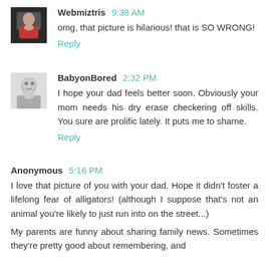Webmiztris 9:38 AM
omg, that picture is hilarious! that is SO WRONG!
Reply
BabyonBored 2:32 PM
I hope your dad feels better soon. Obviously your mom needs his dry erase checkering off skills. You sure are prolific lately. It puts me to shame.
Reply
Anonymous 5:16 PM
I love that picture of you with your dad. Hope it didn't foster a lifelong fear of alligators! (although I suppose that's not an animal you're likely to just run into on the street...)
My parents are funny about sharing family news. Sometimes they're pretty good about remembering, and